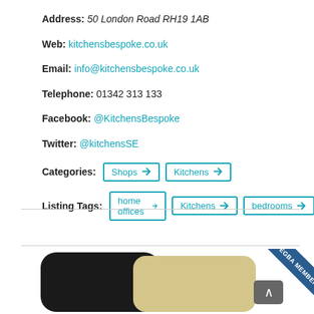Address: 50 London Road RH19 1AB
Web: kitchensbespoke.co.uk
Email: info@kitchensbespoke.co.uk
Telephone: 01342 313 133
Facebook: @KitchensBespoke
Twitter: @kitchensSE
Categories: Shops  Kitchens
Listing Tags: home offices  Kitchens  bedrooms
[Figure (logo): BGI logo / badge partially visible at the bottom of the page, with an EGBA MEMBER ribbon banner in the top right corner]